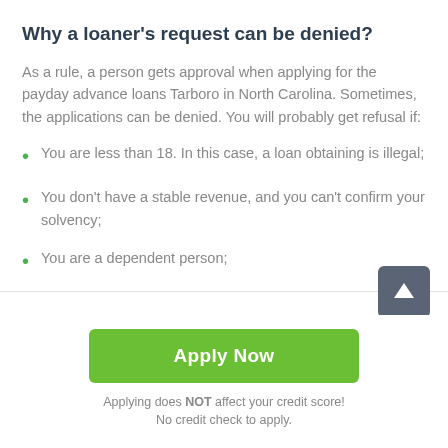Why a loaner's request can be denied?
As a rule, a person gets approval when applying for the payday advance loans Tarboro in North Carolina. Sometimes, the applications can be denied. You will probably get refusal if:
You are less than 18. In this case, a loan obtaining is illegal;
You don't have a stable revenue, and you can't confirm your solvency;
You are a dependent person;
[Figure (other): Green 'Apply Now' button]
Applying does NOT affect your credit score!
No credit check to apply.